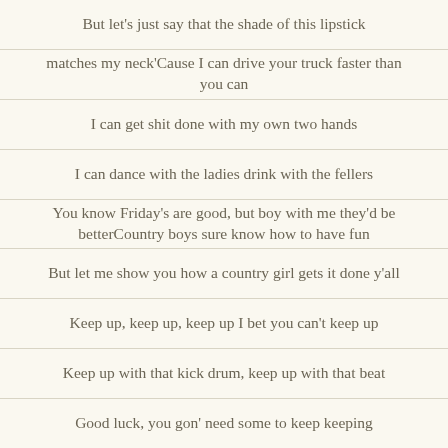But let's just say that the shade of this lipstick
matches my neck'Cause I can drive your truck faster than you can
I can get shit done with my own two hands
I can dance with the ladies drink with the fellers
You know Friday's are good, but boy with me they'd be betterCountry boys sure know how to have fun
But let me show you how a country girl gets it done y'all
Keep up, keep up, keep up I bet you can't keep up
Keep up with that kick drum, keep up with that beat
Good luck, you gon' need some to keep keeping